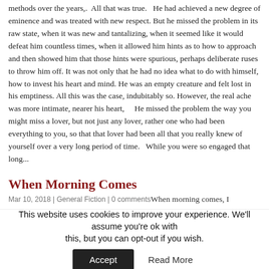methods over the years,.  All that was true.   He had achieved a new degree of eminence and was treated with new respect. But he missed the problem in its raw state, when it was new and tantalizing, when it seemed like it would defeat him countless times, when it allowed him hints as to how to approach and then showed him that those hints were spurious, perhaps deliberate ruses to throw him off. It was not only that he had no idea what to do with himself, how to invest his heart and mind. He was an empty creature and felt lost in his emptiness. All this was the case, indubitably so. However, the real ache was more intimate, nearer his heart,     He missed the problem the way you might miss a lover, but not just any lover, rather one who had been everything to you, so that that lover had been all that you really knew of yourself over a very long period of time.   While you were so engaged that long...
When Morning Comes
Mar 10, 2018 | General Fiction | 0 commentsWhen morning comes, I
[partial line cut off]
This website uses cookies to improve your experience. We'll assume you're ok with this, but you can opt-out if you wish.